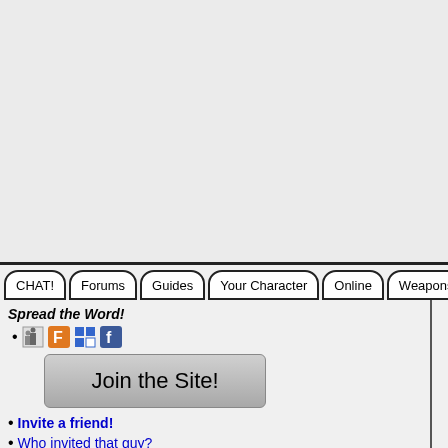[Figure (screenshot): Top navigation bar with tabs: CHAT!, Forums, Guides, Your Character, Online, Weapons & S (cut off)]
Spread the Word!
[Figure (infographic): Social sharing icons: community icon, Fark (orange F), Delicious (blue squares), Facebook (blue F)]
[Figure (other): Join the Site! button]
Invite a friend!
Who invited that guy?
General Information
Home
Reviews
Game Patches
Game Mechanics
Controls